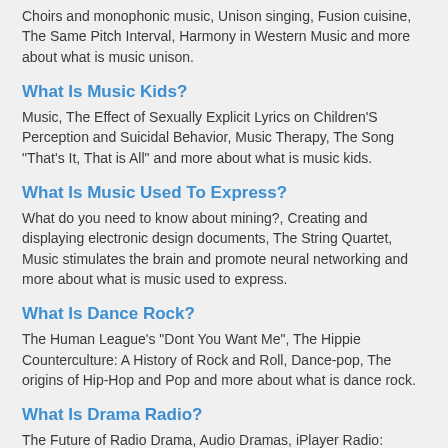Choirs and monophonic music, Unison singing, Fusion cuisine, The Same Pitch Interval, Harmony in Western Music and more about what is music unison.
What Is Music Kids?
Music, The Effect of Sexually Explicit Lyrics on Children'S Perception and Suicidal Behavior, Music Therapy, The Song "That's It, That is All" and more about what is music kids.
What Is Music Used To Express?
What do you need to know about mining?, Creating and displaying electronic design documents, The String Quartet, Music stimulates the brain and promote neural networking and more about what is music used to express.
What Is Dance Rock?
The Human League's "Dont You Want Me", The Hippie Counterculture: A History of Rock and Roll, Dance-pop, The origins of Hip-Hop and Pop and more about what is dance rock.
What Is Drama Radio?
The Future of Radio Drama, Audio Dramas, iPlayer Radio: